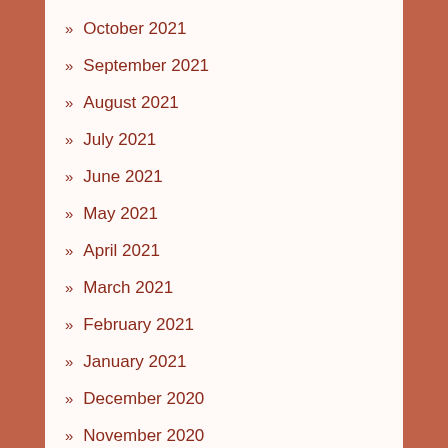October 2021
September 2021
August 2021
July 2021
June 2021
May 2021
April 2021
March 2021
February 2021
January 2021
December 2020
November 2020
June 2020
April 2020
March 2019